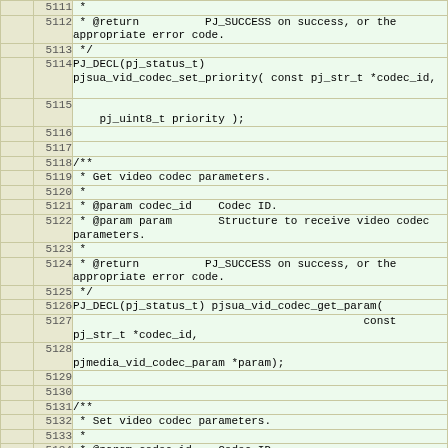|  | linenum | code |
| --- | --- | --- |
|  | 5111 |  * |
|  | 5112 |  * @return          PJ_SUCCESS on success, or the appropriate error code. |
|  | 5113 |  */ |
|  | 5114 | PJ_DECL(pj_status_t)
pjsua_vid_codec_set_priority( const pj_str_t *codec_id, |
|  | 5115 |     pj_uint8_t priority ); |
|  | 5116 |  |
|  | 5117 |  |
|  | 5118 | /** |
|  | 5119 |  * Get video codec parameters. |
|  | 5120 |  * |
|  | 5121 |  * @param codec_id    Codec ID. |
|  | 5122 |  * @param param       Structure to receive video codec parameters. |
|  | 5123 |  * |
|  | 5124 |  * @return          PJ_SUCCESS on success, or the appropriate error code. |
|  | 5125 |  */ |
|  | 5126 | PJ_DECL(pj_status_t) pjsua_vid_codec_get_param( |
|  | 5127 |                                             const pj_str_t *codec_id, |
|  | 5128 |     pjmedia_vid_codec_param *param); |
|  | 5129 |  |
|  | 5130 |  |
|  | 5131 | /** |
|  | 5132 |  * Set video codec parameters. |
|  | 5133 |  * |
|  | 5134 |  * @param codec_id    Codec ID. |
|  | 5135 |  * @param param       Codec parameter to set. Set to NULL to reset |